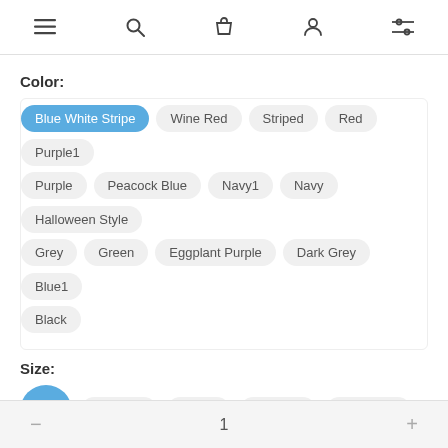☰ 🔍 🛍 👤 ⚙
Color:
Blue White Stripe (selected)
Wine Red
Striped
Red
Purple1
Purple
Peacock Blue
Navy1
Navy
Halloween Style
Grey
Green
Eggplant Purple
Dark Grey
Blue1
Black
Size:
Large (selected)
Medium
Small
X-Large
XX-Large
1